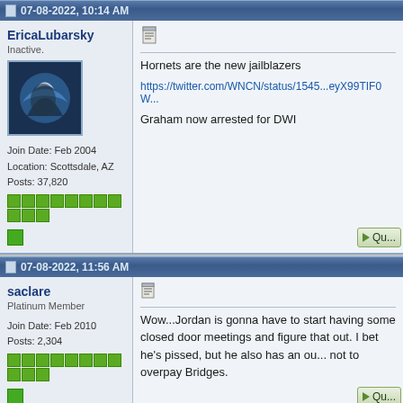07-08-2022, 10:14 AM
EricaLubarsky
Inactive.
Join Date: Feb 2004
Location: Scottsdale, AZ
Posts: 37,820
Hornets are the new jailblazers

https://twitter.com/WNCN/status/1545...eyX99TIF0W...

Graham now arrested for DWI
07-08-2022, 11:56 AM
saclare
Platinum Member
Join Date: Feb 2010
Posts: 2,304
Wow...Jordan is gonna have to start having some closed door meetings and figure that out. I bet he's pissed, but he also has an ou... not to overpay Bridges.
07-08-2022, 09:37 PM
BPo001